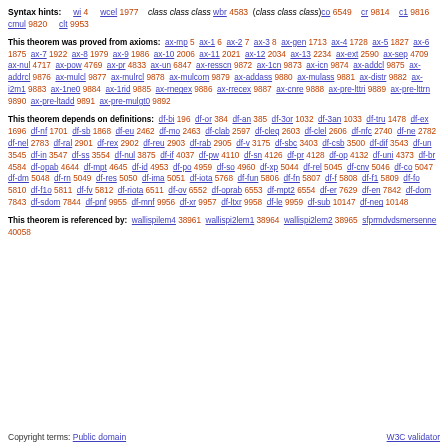Syntax hints: wi 4 wcel 1977 class class class wbr 4583 (class class class)co 6549 cr 9814 c1 9816 cmul 9820 clt 9953
This theorem was proved from axioms: ax-mp 5 ax-1 6 ax-2 7 ax-3 8 ax-gen 1713 ax-4 1728 ax-5 1827 ax-6 1875 ax-7 1922 ax-8 1979 ax-9 1986 ax-10 2006 ax-11 2021 ax-12 2034 ax-13 2234 ax-ext 2590 ax-sep 4709 ax-nul 4717 ax-pow 4769 ax-pr 4833 ax-un 6847 ax-resscn 9872 ax-1cn 9873 ax-icn 9874 ax-addcl 9875 ax-addrcl 9876 ax-mulcl 9877 ax-mulrcl 9878 ax-mulcom 9879 ax-addass 9880 ax-mulass 9881 ax-distr 9882 ax-i2m1 9883 ax-1ne0 9884 ax-1rid 9885 ax-rnegex 9886 ax-rrecex 9887 ax-cnre 9888 ax-pre-lttri 9889 ax-pre-lttrn 9890 ax-pre-ltadd 9891 ax-pre-mulgt0 9892
This theorem depends on definitions: df-bi 196 df-or 384 df-an 385 df-3or 1032 df-3an 1033 df-tru 1478 df-ex 1696 df-nf 1701 df-sb 1868 df-eu 2462 df-mo 2463 df-clab 2597 df-cleq 2603 df-clel 2606 df-nfc 2740 df-ne 2782 df-nel 2783 df-ral 2901 df-rex 2902 df-reu 2903 df-rab 2905 df-v 3175 df-sbc 3403 df-csb 3500 df-dif 3543 df-un 3545 df-in 3547 df-ss 3554 df-nul 3875 df-if 4037 df-pw 4110 df-sn 4126 df-pr 4128 df-op 4132 df-uni 4373 df-br 4584 df-opab 4644 df-mpt 4645 df-id 4953 df-po 4959 df-so 4960 df-xp 5044 df-rel 5045 df-cnv 5046 df-co 5047 df-dm 5048 df-rn 5049 df-res 5050 df-ima 5051 df-iota 5768 df-fun 5806 df-fn 5807 df-f 5808 df-f1 5809 df-fo 5810 df-f1o 5811 df-fv 5812 df-riota 6511 df-ov 6552 df-oprab 6553 df-mpt2 6554 df-er 7629 df-en 7842 df-dom 7843 df-sdom 7844 df-pnf 9955 df-mnf 9956 df-xr 9957 df-ltxr 9958 df-le 9959 df-sub 10147 df-neg 10148
This theorem is referenced by: wallispilem4 38961 wallispi2lem1 38964 wallispi2lem2 38965 sfprmdvdsmersenne 40058
Copyright terms: Public domain    W3C validator